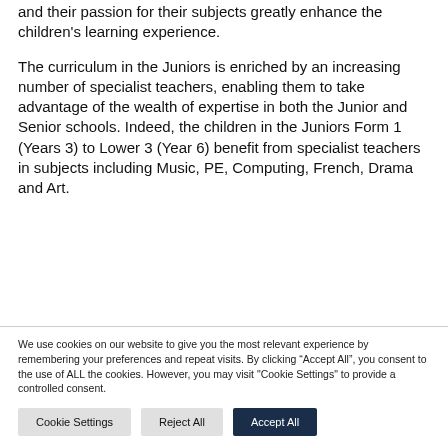and their passion for their subjects greatly enhance the children's learning experience.
The curriculum in the Juniors is enriched by an increasing number of specialist teachers, enabling them to take advantage of the wealth of expertise in both the Junior and Senior schools. Indeed, the children in the Juniors Form 1 (Years 3) to Lower 3 (Year 6) benefit from specialist teachers in subjects including Music, PE, Computing, French, Drama and Art.
We use cookies on our website to give you the most relevant experience by remembering your preferences and repeat visits. By clicking “Accept All”, you consent to the use of ALL the cookies. However, you may visit "Cookie Settings" to provide a controlled consent.
Cookie Settings | Reject All | Accept All